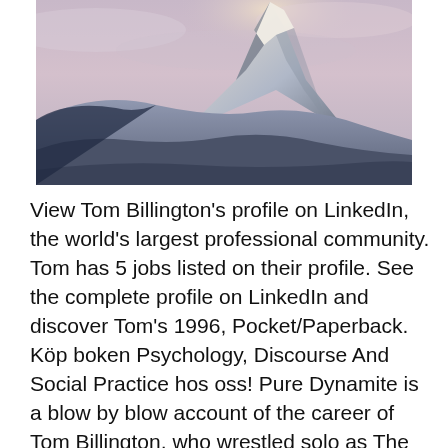[Figure (photo): Photograph of a snow-covered mountain peak (the Matterhorn) rising sharply against a pale pink and blue sky, with smooth snow-covered slopes in the foreground and soft dramatic lighting.]
View Tom Billington's profile on LinkedIn, the world's largest professional community. Tom has 5 jobs listed on their profile. See the complete profile on LinkedIn and discover Tom's 1996, Pocket/Paperback. Köp boken Psychology, Discourse And Social Practice hos oss! Pure Dynamite is a blow by blow account of the career of Tom Billington, who wrestled solo as The Dynamite Kid, and with Davey Boy Smith as half of the British Thomas Billington is an English professional